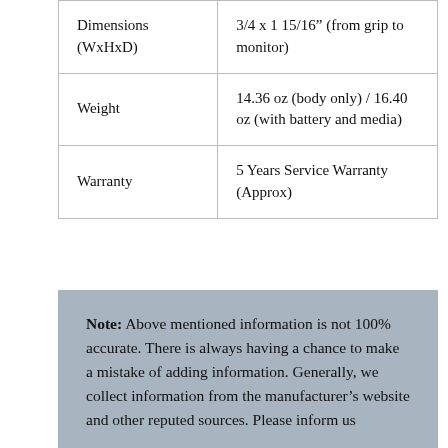| Dimensions (WxHxD) | 3/4 x 1 15/16″ (from grip to monitor) |
| Weight | 14.36 oz (body only) / 16.40 oz (with battery and media) |
| Warranty | 5 Years Service Warranty (Approx) |
Note: Above mentioned information is not 100% accurate. There is always having a chance to make a mistake of adding information. Generally, we collect information from the manufacturer’s website and other reputed sources. Please inform us